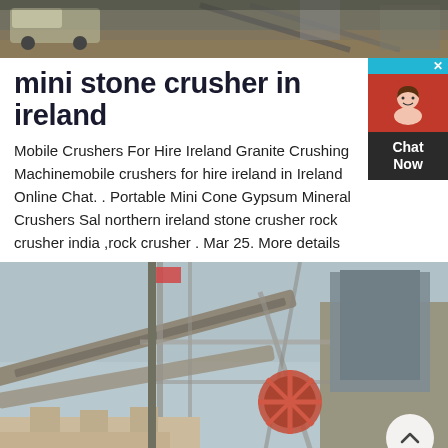[Figure (photo): Top portion of an industrial stone crusher / mining machinery scene with a vehicle visible, outdoor setting, cropped top image]
mini stone crusher in ireland
Mobile Crushers For Hire Ireland Granite Crushing Machinemobile crushers for hire ireland in Ireland Online Chat. . Portable Mini Cone Gypsum Mineral Crushers Sal northern ireland stone crusher rock crusher india ,rock crusher . Mar 25. More details
[Figure (photo): Industrial stone crushing plant exterior showing conveyor belts, hoppers, structural steel framework, machinery components, and dust in an outdoor setting]